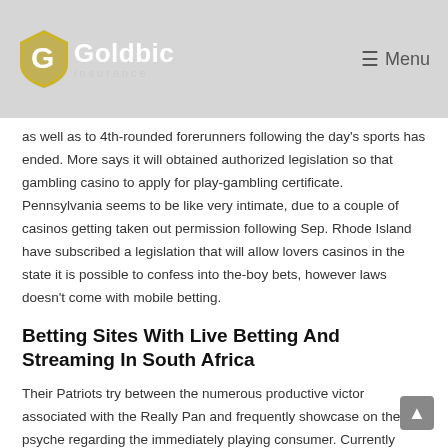Goldbic Insurance — Menu
as well as to 4th-rounded forerunners following the day's sports has ended. More says it will obtained authorized legislation so that gambling casino to apply for play-gambling certificate. Pennsylvania seems to be like very intimate, due to a couple of casinos getting taken out permission following Sep. Rhode Island have subscribed a legislation that will allow lovers casinos in the state it is possible to confess into the-boy bets, however laws doesn't come with mobile betting.
Betting Sites With Live Betting And Streaming In South Africa
Their Patriots try between the numerous productive victor associated with the Really Pan and frequently showcase on the psyche regarding the immediately playing consumer. Currently